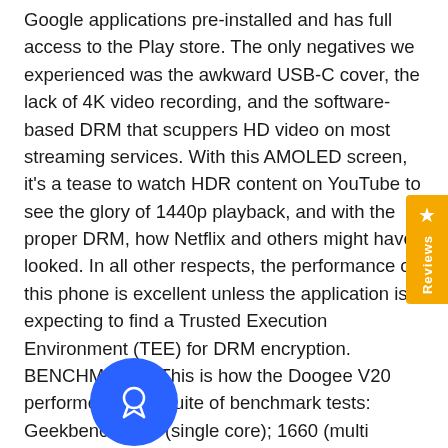Google applications pre-installed and has full access to the Play store. The only negatives we experienced was the awkward USB-C cover, the lack of 4K video recording, and the software-based DRM that scuppers HD video on most streaming services. With this AMOLED screen, it's a tease to watch HDR content on YouTube to see the glory of 1440p playback, and with the proper DRM, how Netflix and others might have looked. In all other respects, the performance of this phone is excellent unless the application is expecting to find a Trusted Execution Environment (TEE) for DRM encryption. BENCHMARKS This is how the Doogee V20 performed in our suite of benchmark tests: Geekbench: 537 (single core); 1660 (multi core)PCMark (Work 3.0): 1…Passmark: 9280Passmark CPU: 45243DMark Slingshot… (OGL)3DMark Slingshot Extreme: 2465 (OGL)…(Vulkan)Wild Life: 1104 (Vulkan)HWBot Prime: 4879 Learn More